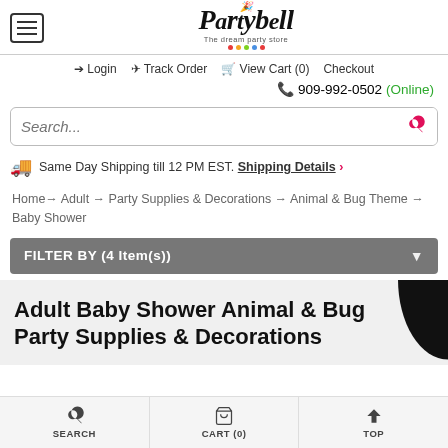[Figure (logo): Partybell logo with italic script font and tagline 'The dream party store']
Login  Track Order  View Cart (0)  Checkout
909-992-0502 (Online)
Search...
Same Day Shipping till 12 PM EST. Shipping Details ›
Home → Adult → Party Supplies & Decorations → Animal & Bug Theme → Baby Shower
FILTER BY (4 Item(s))
Adult Baby Shower Animal & Bug Party Supplies & Decorations
SEARCH  CART (0)  TOP